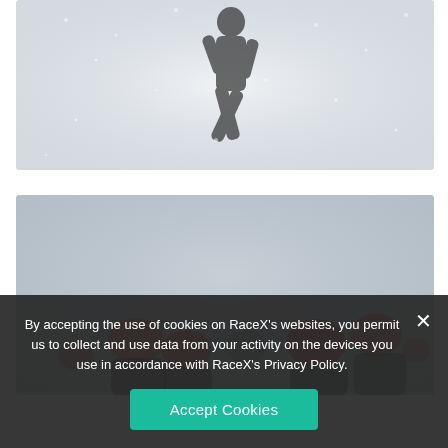[Figure (photo): Person running in snowy/rainy conditions wearing dark athletic gear, misty background]
[Figure (photo): Group of athletes/swimmers, partially visible, with colorful swim caps, outdoors]
By accepting the use of cookies on RaceX's websites, you permit us to collect and use data from your activity on the devices you use in accordance with RaceX's Privacy Policy.
Accept Cookies